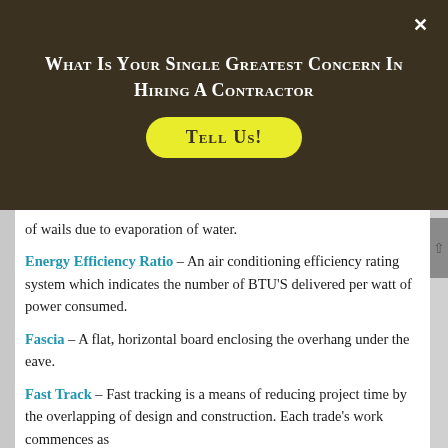What Is Your Single Greatest Concern In Hiring A Contractor
Tell Us!
of wails due to evaporation of water.
Energy Efficiency Ratio – An air conditioning efficiency rating system which indicates the number of BTU'S delivered per watt of power consumed.
Fascia – A flat, horizontal board enclosing the overhang under the eave.
Fast Track – Fast tracking is a means of reducing project time by the overlapping of design and construction. Each trade's work commences as...